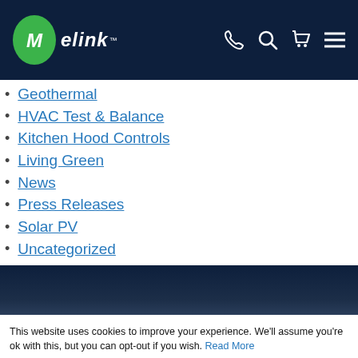Melink [logo] navigation header with phone, search, cart, menu icons
Geothermal
HVAC Test & Balance
Kitchen Hood Controls
Living Green
News
Press Releases
Solar PV
Uncategorized
This website uses cookies to improve your experience. We'll assume you're ok with this, but you can opt-out if you wish. Read More
Accept | Decline | Cookie Settings